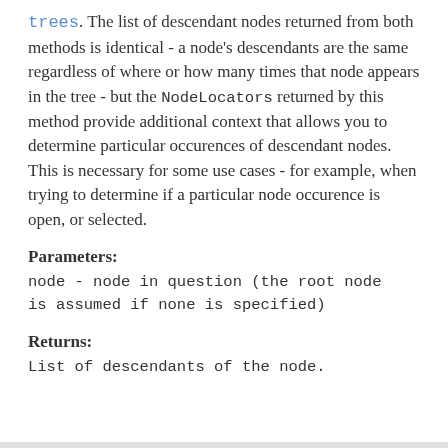trees. The list of descendant nodes returned from both methods is identical - a node's descendants are the same regardless of where or how many times that node appears in the tree - but the NodeLocators returned by this method provide additional context that allows you to determine particular occurences of descendant nodes. This is necessary for some use cases - for example, when trying to determine if a particular node occurence is open, or selected.
Parameters:
node - node in question (the root node is assumed if none is specified)
Returns:
List of descendants of the node.